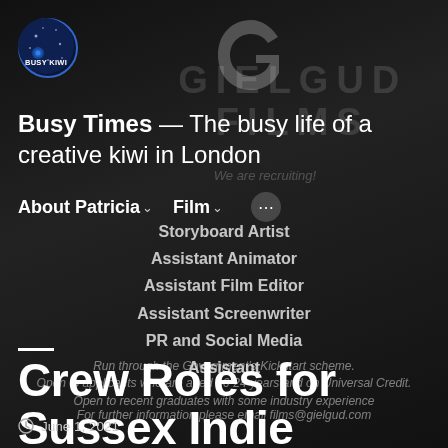[Figure (logo): Busy Kiwi circular logo with dark blue starry background and white text BUSY KIWI]
[Figure (logo): Gielgud Films G logo in faint outline, centered top]
Busy Times — The busy life of a creative kiwi in London
About Patricia ∨   Film ∨   •••
Storyboard Artist
Assistant Animator
Assistant Film Editor
Assistant Screenwriter
PR and Social Media Assistant
Crew Roles for Sussex Indie Feature
Run through the Government's Kickstart scheme. Open to applicants who are aged 16-24 years and on Universal Credit. Open to recent graduates with some industry experience
For further information please email films@gielgud.com
June 1, 2021